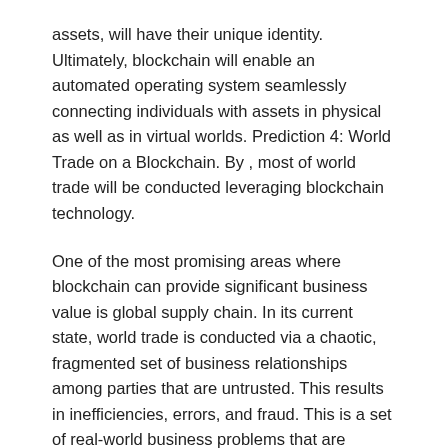assets, will have their unique identity. Ultimately, blockchain will enable an automated operating system seamlessly connecting individuals with assets in physical as well as in virtual worlds. Prediction 4: World Trade on a Blockchain. By , most of world trade will be conducted leveraging blockchain technology.
One of the most promising areas where blockchain can provide significant business value is global supply chain. In its current state, world trade is conducted via a chaotic, fragmented set of business relationships among parties that are untrusted. This results in inefficiencies, errors, and fraud. This is a set of real-world business problems that are currently unsolved and cannot be fully solved without using blockchain technology. Some examples of real-world supply chain problems that need to be solved are:.
As is evident, the problems in global supply chains are significant and, in some cases, life-threatening. According